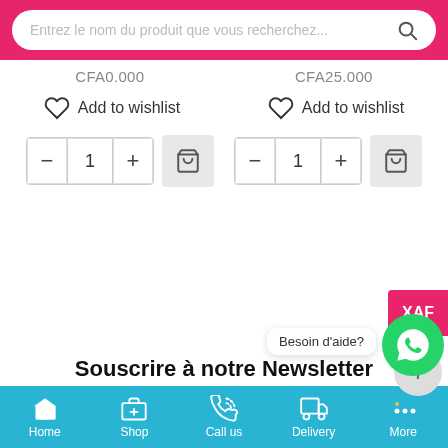[Figure (screenshot): Search bar with pink background and rounded input field reading 'Entrez le nom du produit que vous recherchez...' with a search icon]
CFA0.000   CFA25.000
Add to wishlist   Add to wishlist
[Figure (other): Two quantity selectors each with minus, 1, plus buttons and a shopping bag cart button]
XAF
Besoin d'aide?
Souscrire à notre Newsletter
[Figure (other): Bottom navigation bar with Home, Shop, Call us, Delivery, More icons on cyan/teal background]